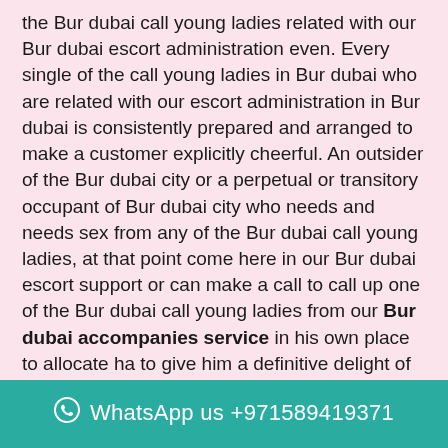the Bur dubai call young ladies related with our Bur dubai escort administration even. Every single of the call young ladies in Bur dubai who are related with our escort administration in Bur dubai is consistently prepared and arranged to make a customer explicitly cheerful. An outsider of the Bur dubai city or a perpetual or transitory occupant of Bur dubai city who needs and needs sex from any of the Bur dubai call young ladies, at that point come here in our Bur dubai escort support or can make a call to call up one of the Bur dubai call young ladies from our Bur dubai accompanies service in his own place to allocate ha to give him a definitive delight of enchanting and vigorous sex – quickly and whenever India low rate to be sure. Because of the force of the effectiveness of the Bur dubai call young ladies related with our Bur dubai escort administration and the low pace of the call young ladies in Bur dubai related with our escort
WhatsApp us +971589419371